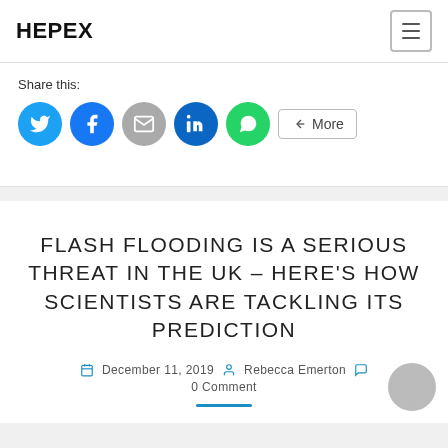HEPEX
Share this:
[Figure (screenshot): Social share buttons: Twitter, Facebook, Email, LinkedIn, WhatsApp, and a More button]
FLASH FLOODING IS A SERIOUS THREAT IN THE UK – HERE'S HOW SCIENTISTS ARE TACKLING ITS PREDICTION
December 11, 2019  Rebecca Emerton  0 Comment